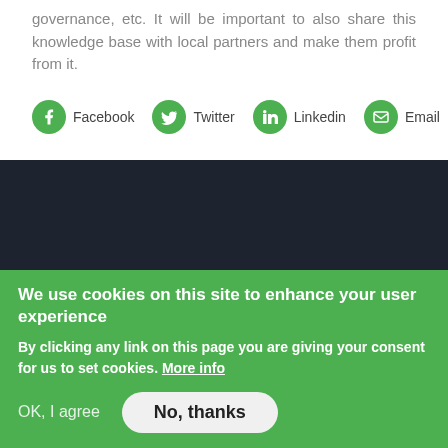governance, etc. It will be important to also share this knowledge base with local partners and make them profit from it.
Facebook  Twitter  Linkedin  Email  PDF
[Figure (other): Dark background section (website footer/navigation area)]
We use cookies on this site to enhance your user experience
By clicking any link on this page you are giving your consent for us to set cookies. More info
OK, I agree   No, thanks